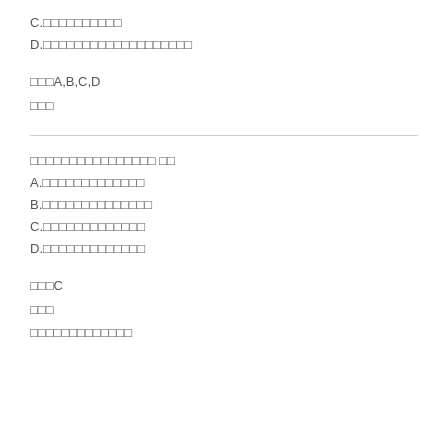C.□□□□□□□□□□
D.□□□□□□□□□□□□□□□□□□□
□□□A,B,C,D
□□□
□□□□□□□□□□□□□□□□ □□
A.□□□□□□□□□□□□□
B.□□□□□□□□□□□□□□
C.□□□□□□□□□□□□□
D.□□□□□□□□□□□□□
□□□C
□□□
□□□□□□□□□□□□□